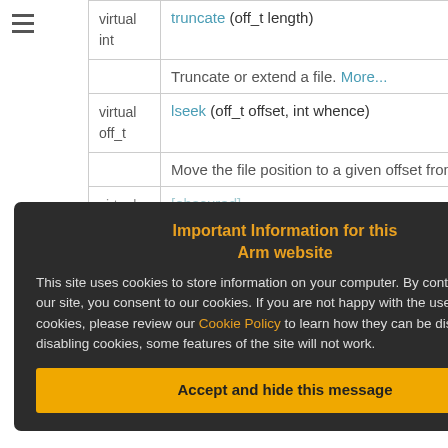| Type | Method |
| --- | --- |
| virtual int | truncate (off_t length) |
|  | Truncate or extend a file. More... |
| virtual off_t | lseek (off_t offset, int whence) |
|  | Move the file position to a given offset from a g |
| virtual int | [link text cut off] |
|  | associated with the FileHand  More... |
|  | Find the length of the file. More... |
Important Information for this Arm website
This site uses cookies to store information on your computer. By continuing to use our site, you consent to our cookies. If you are not happy with the use of these cookies, please review our Cookie Policy to learn how they can be disabled. By disabling cookies, some features of the site will not work.
Accept and hide this message